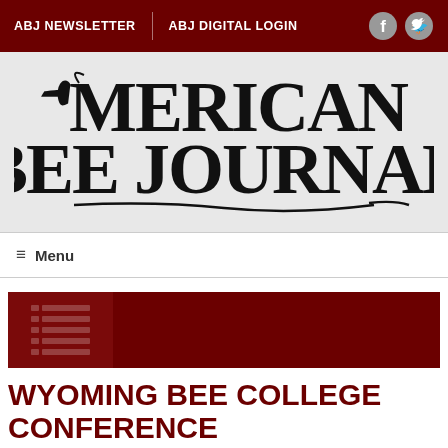ABJ NEWSLETTER  |  ABJ DIGITAL LOGIN
[Figure (logo): American Bee Journal logo in decorative serif typeface, black text on light gray background]
≡  Menu
[Figure (infographic): Dark red/maroon rectangular banner with a grid lines graphic on the left side]
WYOMING BEE COLLEGE CONFERENCE
- March 19, 2016 -